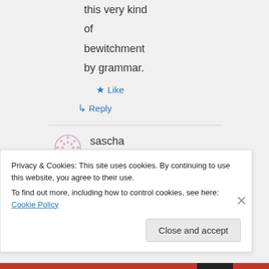this very kind of bewitchment by grammar.
★ Like
↳ Reply
sascha dickel
Privacy & Cookies: This site uses cookies. By continuing to use this website, you agree to their use.
To find out more, including how to control cookies, see here: Cookie Policy
Close and accept